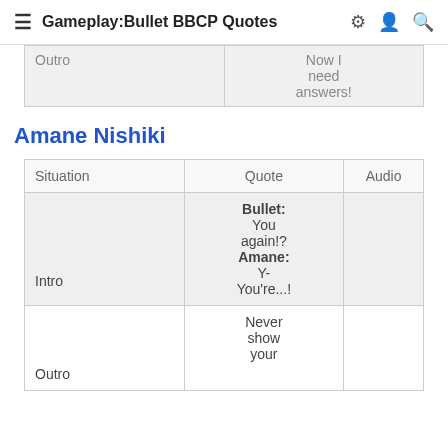Gameplay:Bullet BBCP Quotes
| Situation | Quote | Audio |
| --- | --- | --- |
| Outro | Now I need answers! |  |
Amane Nishiki
| Situation | Quote | Audio |
| --- | --- | --- |
| Intro | Bullet: You again!? Amane: Y-You're...! |  |
| Outro | Never show your |  |